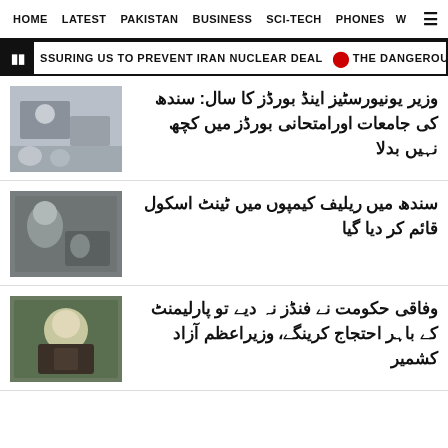HOME  LATEST  PAKISTAN  BUSINESS  SCI-TECH  PHONES  W  ☰
⏸ SSURING US TO PREVENT IRAN NUCLEAR DEAL  🔴  THE DANGEROUS GAMBLE: ZAWA
وزیر یونیورسٹیز اینڈ بورڈز کا سال: سندھ کی جامعات اورامتحانی بورڈز میں کچھ نہیں بدلا
سندھ میں ریلیف کیمپوں میں ٹینٹ اسکول قائم کر دیا گیا
وفاقی حکومت نے فنڈز نہ دیے تو پارلیمنٹ کے باہر احتجاج کرینگے، وزیراعظم آزاد کشمیر